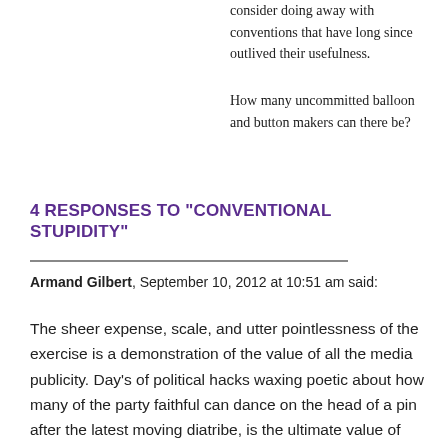consider doing away with conventions that have long since outlived their usefulness.
How many uncommitted balloon and button makers can there be?
4 RESPONSES TO “CONVENTIONAL STUPIDITY”
Armand Gilbert, September 10, 2012 at 10:51 am said:
The sheer expense, scale, and utter pointlessness of the exercise is a demonstration of the value of all the media publicity. Day’s of political hacks waxing poetic about how many of the party faithful can dance on the head of a pin after the latest moving diatribe, is the ultimate value of these embarrassing spectacles. If they were not held the the media vacuum it would create would then be interpreted by these same hack as irrelevance and